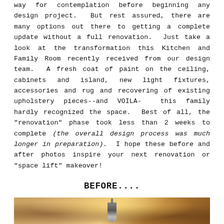way for contemplation before beginning any design project.  But rest assured, there are many options out there to getting a complete update without a full renovation.  Just take a look at the transformation this Kitchen and Family Room recently received from our design team.  A fresh coat of paint on the ceiling, cabinets and island, new light fixtures, accessories and rug and recovering of existing upholstery pieces--and VOILA-  this family hardly recognized the space.  Best of all, the "renovation" phase took less than 2 weeks to complete (the overall design process was much longer in preparation).  I hope these before and after photos inspire your next renovation or "space lift" makeover!
BEFORE....
[Figure (photo): A before photo of a kitchen interior showing warm yellow/amber lighting, pendant light fixture hanging from ceiling, and dark wood cabinetry visible on the right side.]